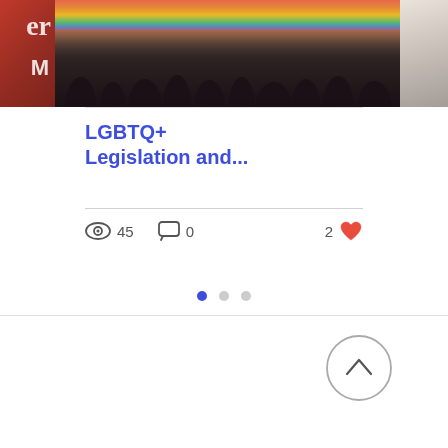[Figure (photo): A collage of three partially visible photos: left shows a red background with partial letter 'er' and 'M', center shows people marching at a Pride parade holding a large rainbow flag, right shows people in bright light partially cut off.]
LGBTQ+ Legislation and...
45 views  0 comments  2 likes
[Figure (infographic): Pagination dots: one filled blue dot and two gray dots indicating carousel position.]
[Figure (infographic): A circular button with an upward chevron arrow for scrolling to top.]